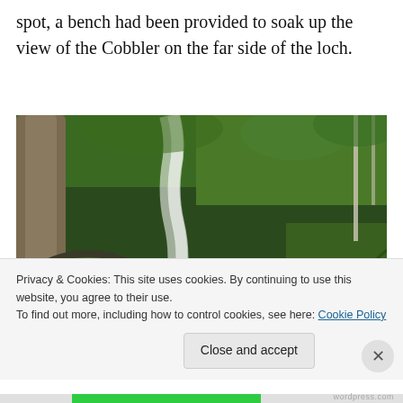spot, a bench had been provided to soak up the view of the Cobbler on the far side of the loch.
[Figure (photo): A mountain stream or waterfall cascading over mossy rocks surrounded by lush green ferns, grass, and trees. The water appears blurred from motion. A birch tree trunk is visible on the left.]
Privacy & Cookies: This site uses cookies. By continuing to use this website, you agree to their use.
To find out more, including how to control cookies, see here: Cookie Policy
Close and accept